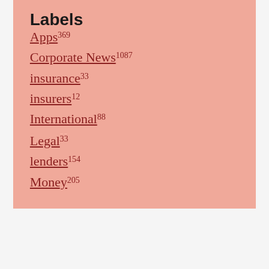Labels
Apps 369
Corporate News 1087
insurance 33
insurers 12
International 88
Legal 33
lenders 154
Money 205